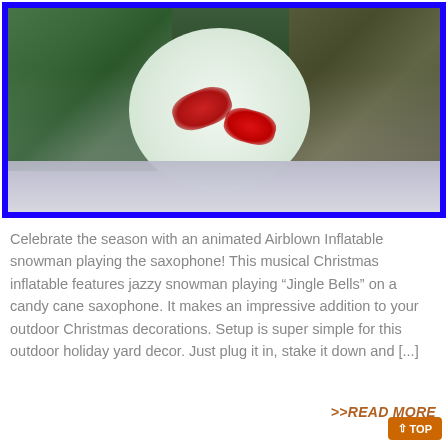[Figure (photo): A blurry photo of an animated airblown inflatable snowman playing a candy cane saxophone, set against a background of green and dark foliage, with a blue border frame around the image.]
Celebrate the season with an animated Airblown Inflatable snowman playing the saxophone! This musical Christmas inflatable features jazzy snowman playing “Jingle Bells” on a candy cane saxophone. It makes an impressive addition to your outdoor Christmas decorations. Setup is super simple for this outdoor holiday yard decor. Just plug it in, stake it down and [...]
>>READ MORE